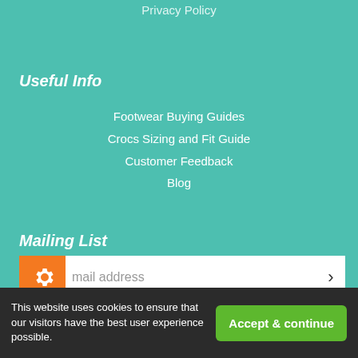Privacy Policy
Useful Info
Footwear Buying Guides
Crocs Sizing and Fit Guide
Customer Feedback
Blog
Mailing List
mail address
Payment Options
[Figure (logo): PayPal logo with blue P icon and PayPal text]
[Figure (logo): MasterCard logo - red and orange overlapping circles]
[Figure (logo): VISA logo - blue text on white]
[Figure (logo): Maestro logo - blue and red circles with Maestro text]
[Figure (logo): American Express logo - blue card with AMERICAN EXPRESS text]
This website uses cookies to ensure that our visitors have the best user experience possible.
Accept & continue